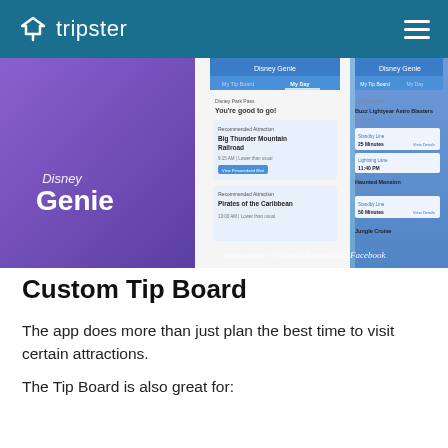tripster
[Figure (screenshot): Disney Genie app screenshot showing My Tip Board and My Day tabs, displayed on smartphones, with Disney Genie logo and genie character on purple background. Photo credit: Orlando Sentinel via Facebook]
photo credit: Orlando Sentinel via Facebook
Custom Tip Board
The app does more than just plan the best time to visit certain attractions.
The Tip Board is also great for: